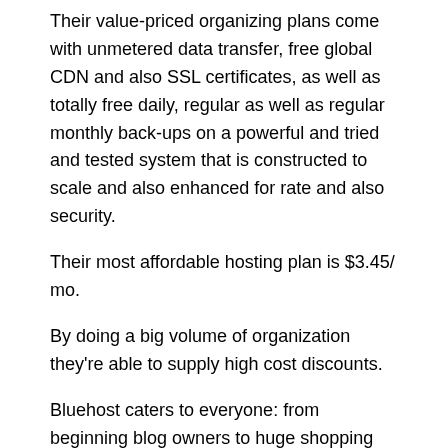Their value-priced organizing plans come with unmetered data transfer, free global CDN and also SSL certificates, as well as totally free daily, regular as well as regular monthly back-ups on a powerful and tried and tested system that is constructed to scale and also enhanced for rate and also security.
Their most affordable hosting plan is $3.45/ mo.
By doing a big volume of organization they're able to supply high cost discounts.
Bluehost caters to everyone: from beginning blog owners to huge shopping web sites, developed WordPress individuals, and a lot more.
Bluehost has been in collaboration with WordPress for over one decade and maintains support personnel that helps out WordPress customers. It additionally purchases a design group devoted to